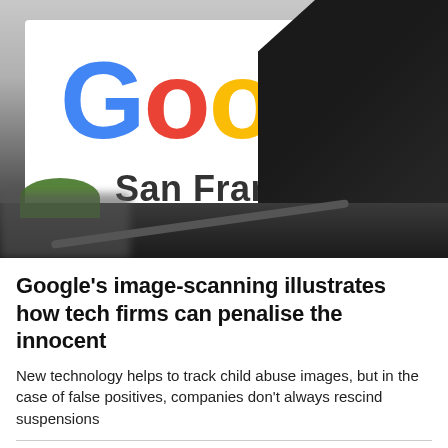[Figure (photo): A photo of a Google sign reading 'Google San Francisco' with a person silhouetted on the right side looking at a phone, against a brick wall background.]
Google's image-scanning illustrates how tech firms can penalise the innocent
New technology helps to track child abuse images, but in the case of false positives, companies don't always rescind suspensions